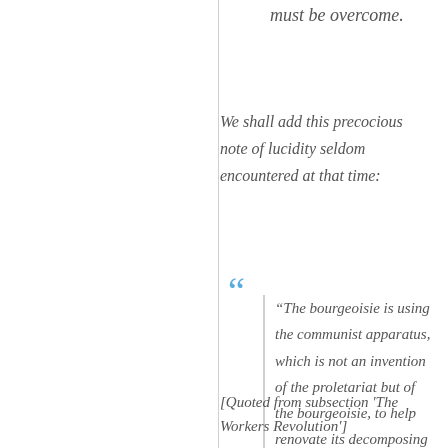must be overcome.
We shall add this precocious note of lucidity seldom encountered at that time:
“The bourgeoisie is using the communist apparatus, which is not an invention of the proletariat but of the bourgeoisie, to help renovate its decomposing culture (Russia).”
[Quoted from subsection 'The Workers Revolution']